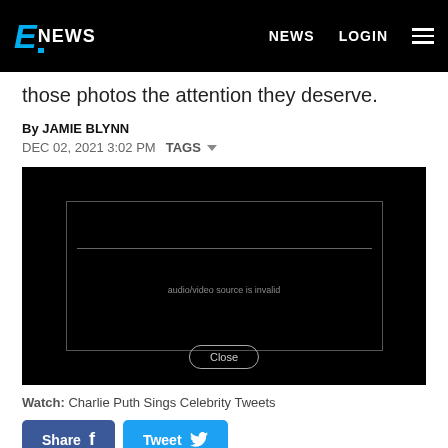E NEWS  NEWS  LOGIN
those photos the attention they deserve.
By JAMIE BLYNN
DEC 02, 2021 3:02 PM  TAGS
[Figure (screenshot): Embedded video player showing error message 'audio/video source is invalid' with a Close button]
Watch: Charlie Puth Sings Celebrity Tweets
Share  Tweet